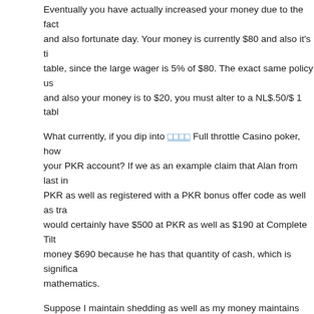Eventually you have actually increased your money due to the fact and also fortunate day. Your money is currently $80 and also it's ti table, since the large wager is 5% of $80. The exact same policy us and also your money is to $20, you must alter to a NL$.50/$ 1 tabl
What currently, if you dip into [link] Full throttle Casino poker, how your PKR account? If we as an example claim that Alan from last in PKR as well as registered with a PKR bonus offer code as well as tr would certainly have $500 at PKR as well as $190 at Complete Tilt money $690 because he has that quantity of cash, which is significa mathematics.
Suppose I maintain shedding as well as my money maintains lower isn't large sufficient to play the risks I intend to? After that I will ce discovering a table with reduced risks up until my money has actua certainly seek different resources that I can feed my money with, payment to the casino poker account.
It is essential that your money is greater than the quantity you rec event, as well as a lot greater is far better. If you have $100 in yo is $105 you can not manage it. If the buy-in is $100 you can hard